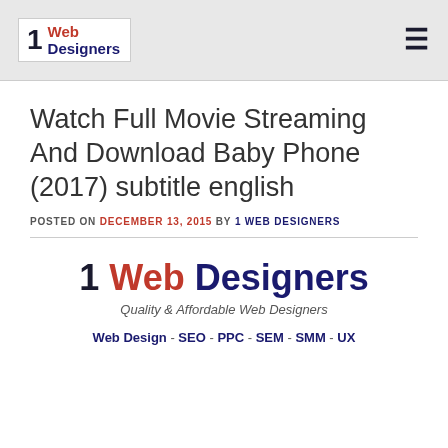1 Web Designers
Watch Full Movie Streaming And Download Baby Phone (2017) subtitle english
POSTED ON DECEMBER 13, 2015 BY 1 WEB DESIGNERS
[Figure (logo): 1 Web Designers logo with tagline 'Quality & Affordable Web Designers' and services list 'Web Design - SEO - PPC - SEM - SMM - UX']